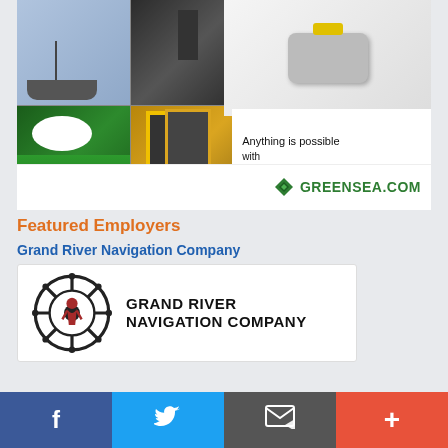[Figure (photo): Greensea advertisement showing marine robotics and autonomous underwater vehicles. Left side shows a photo collage of boats and underwater equipment; right side has white area with text 'Anything is possible with OPENSEA' and green GREENSEA.COM logo with diamond icon.]
Featured Employers
Grand River Navigation Company
[Figure (logo): Grand River Navigation Company logo: ship wheel with Native American figure inside, company name text to the right.]
[Figure (other): Social media sharing bar with Facebook, Twitter, email/subscribe, and plus buttons.]